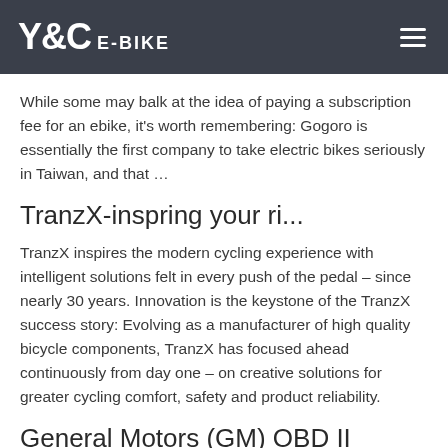Y&C E-BIKE
While some may balk at the idea of paying a subscription fee for an ebike, it's worth remembering: Gogoro is essentially the first company to take electric bikes seriously in Taiwan, and that …
TranzX-inspring your ri...
TranzX inspires the modern cycling experience with intelligent solutions felt in every push of the pedal – since nearly 30 years. Innovation is the keystone of the TranzX success story: Evolving as a manufacturer of high quality bicycle components, TranzX has focused ahead continuously from day one – on creative solutions for greater cycling comfort, safety and product reliability.
General Motors (GM) OBD II diagnostic interface pinout ....
Pinout of General Motors (GM) OBD II diagnostic